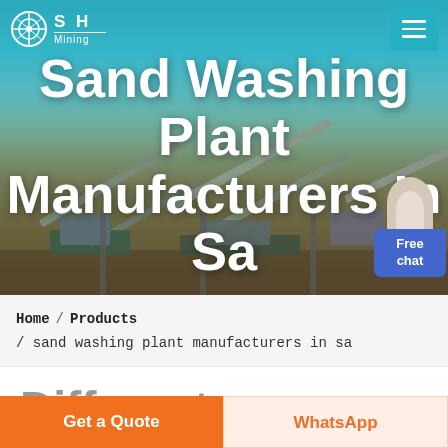Sand Washing Plant Manufacturers In Sa
[Figure (screenshot): Industrial mining/sand washing plant with conveyor belts against a teal sky background, used as hero image]
Sand Washing Plant Manufacturers In Sa
Free chat
Home / Products / sand washing plant manufacturers in sa
Different
Get a Quote
WhatsApp